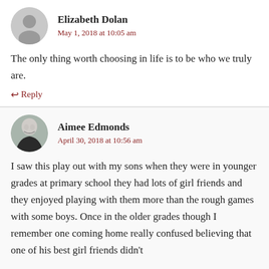Elizabeth Dolan
May 1, 2018 at 10:05 am
The only thing worth choosing in life is to be who we truly are.
↩ Reply
Aimee Edmonds
April 30, 2018 at 10:56 am
I saw this play out with my sons when they were in younger grades at primary school they had lots of girl friends and they enjoyed playing with them more than the rough games with some boys. Once in the older grades though I remember one coming home really confused believing that one of his best girl friends didn't